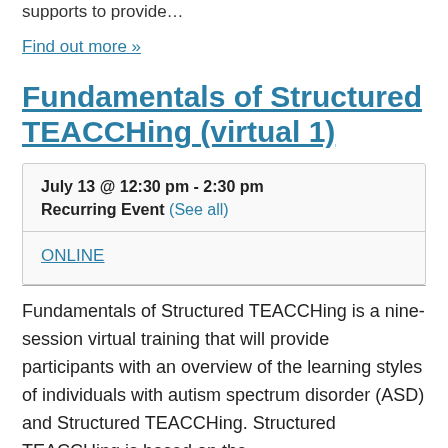supports to provide…
Find out more »
Fundamentals of Structured TEACCHing (virtual 1)
| July 13 @ 12:30 pm - 2:30 pm |
| Recurring Event (See all) |
| ONLINE |
Fundamentals of Structured TEACCHing is a nine-session virtual training that will provide participants with an overview of the learning styles of individuals with autism spectrum disorder (ASD) and Structured TEACCHing. Structured TEACCHing is based on the